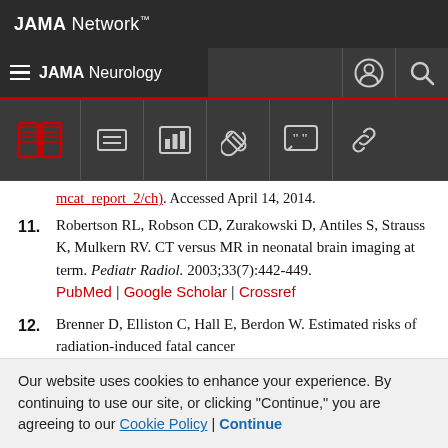JAMA Network
JAMA Neurology
mcat_report_2/ch). Accessed April 14, 2014.
11. Robertson RL, Robson CD, Zurakowski D, Antiles S, Strauss K, Mulkern RV. CT versus MR in neonatal brain imaging at term. Pediatr Radiol. 2003;33(7):442-449.
PubMed | Google Scholar | Crossref
12. Brenner D, Elliston C, Hall E, Berdon W. Estimated risks of radiation-induced fatal cancer
Our website uses cookies to enhance your experience. By continuing to use our site, or clicking "Continue," you are agreeing to our Cookie Policy | Continue